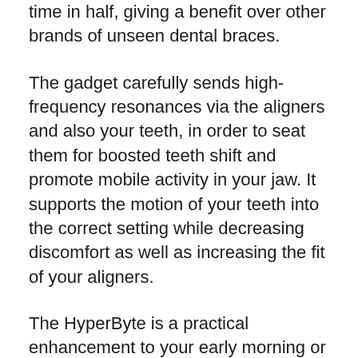time in half, giving a benefit over other brands of unseen dental braces.
The gadget carefully sends high-frequency resonances via the aligners and also your teeth, in order to seat them for boosted teeth shift and promote mobile activity in your jaw. It supports the motion of your teeth into the correct setting while decreasing discomfort as well as increasing the fit of your aligners.
The HyperByte is a practical enhancement to your early morning or nighttime routine. With your aligners in, gently understand the HyperByte with your teeth and let it run for five minutes. If you choose Byte at Night, run it for 10 mins.